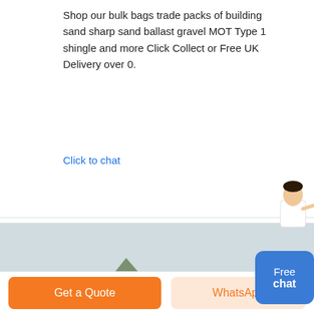Shop our bulk bags trade packs of building sand sharp sand ballast gravel MOT Type 1 shingle and more Click Collect or Free UK Delivery over 0.
Click to chat
[Figure (photo): Industrial sand washing machine with large blue gear wheel, workers operating equipment in an outdoor setting with mountains in the background]
Free chat
Get a Quote
WhatsApp